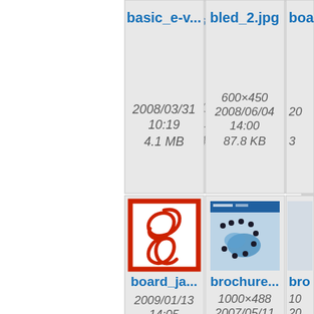[Figure (screenshot): File browser / media gallery grid showing file thumbnails with names and metadata. Row 1: basic_e-v... (2008/03/31 10:19, 4.1 MB), bled_2.jpg (600×450, 2008/06/04 14:00, 87.8 KB), boa... (partial). Row 2: board_ja... with PDF icon (2009/01/13 14:05, 419.1 KB), brochure... with map thumbnail (1000×488, 2007/05/11 14:15, 416.1 KB), bro... (partial). Row 3: chairman... PowerPoint icon, conway-b... PowerPoint icon, deli... partial.]